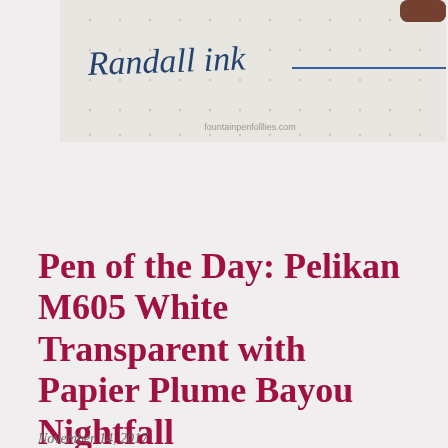[Figure (photo): A close-up photo of dotted notebook paper with handwritten text 'Randall ink' in dark blue ink and a horizontal blue line, with a pen visible in the upper right corner. Watermark reads 'fountainpenfollies.com'.]
Pen of the Day: Pelikan M605 White Transparent with Papier Plume Bayou Nightfall
November 14, 2017